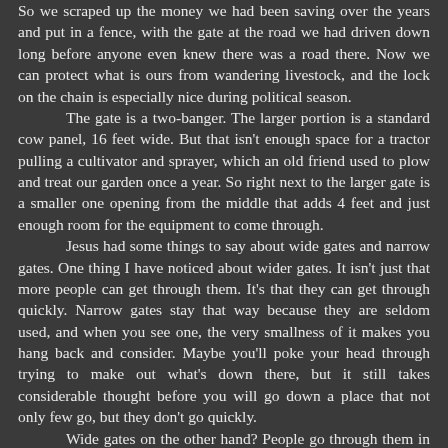So we scraped up the money we had been saving over the years and put in a fence, with the gate at the road we had driven down long before anyone even knew there was a road there. Now we can protect what is ours from wandering livestock, and the lock on the chain is especially nice during political season.
	The gate is a two-banger. The larger portion is a standard cow panel, 16 feet wide. But that isn't enough space for a tractor pulling a cultivator and sprayer, which an old friend used to plow and treat our garden once a year. So right next to the larger gate is a smaller one opening from the middle that adds 4 feet and just enough room for the equipment to come through.
	Jesus had some things to say about wide gates and narrow gates. One thing I have noticed about wider gates. It isn't just that more people can get through them. It's that they can get through quickly. Narrow gates stay that way because they are seldom used, and when you see one, the very smallness of it makes you hang back and consider. Maybe you'll poke your head through trying to make out what's down there, but it still takes considerable thought before you will go down a place that not only few go, but they don't go quickly.
	Wide gates on the other hand? People go through them in a headlong rush simply because everyone else does. Someone